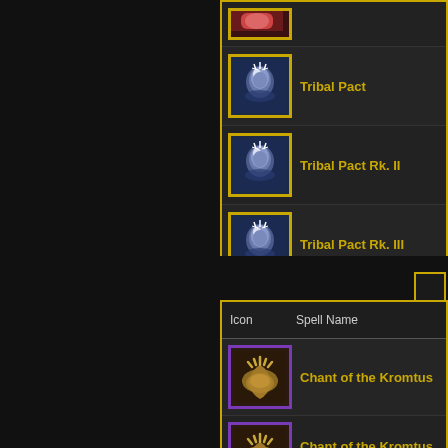| Icon | Spell Name |
| --- | --- |
| [icon] |  |
| [tribal-face-icon] | Tribal Pact |
| [tribal-face-icon] | Tribal Pact Rk. II |
| [tribal-face-icon] | Tribal Pact Rk. III |
| Icon | Spell Name |
| --- | --- |
| [hand-icon] | Chant of the Kromtus |
| [hand-icon] | Chant of the Kromtus Rk. II |
| [hand-icon] | Chant of the Kromtus Rk. III |